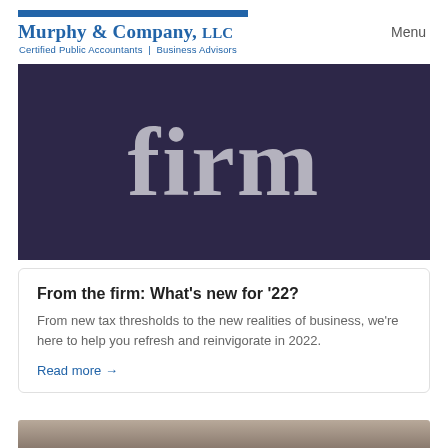Murphy & Company, LLC
Certified Public Accountants | Business Advisors
Menu
[Figure (illustration): Dark navy/purple background with large light gray serif text reading 'firm']
From the firm: What's new for '22?
From new tax thresholds to the new realities of business, we're here to help you refresh and reinvigorate in 2022.
Read more →
[Figure (photo): Partial photo visible at the bottom of the page, blurred warm-toned image]